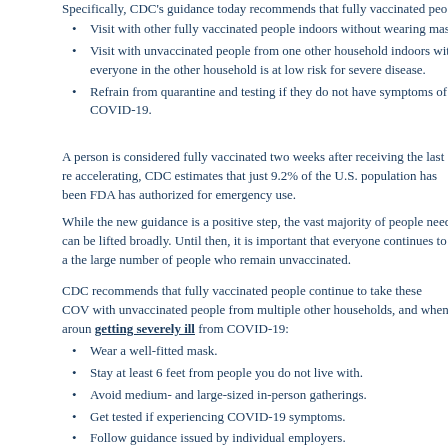Specifically, CDC's guidance today recommends that fully vaccinated peo
Visit with other fully vaccinated people indoors without wearing mas
Visit with unvaccinated people from one other household indoors wit everyone in the other household is at low risk for severe disease.
Refrain from quarantine and testing if they do not have symptoms of COVID-19.
A person is considered fully vaccinated two weeks after receiving the last re accelerating, CDC estimates that just 9.2% of the U.S. population has been FDA has authorized for emergency use.
While the new guidance is a positive step, the vast majority of people need can be lifted broadly. Until then, it is important that everyone continues to a the large number of people who remain unvaccinated.
CDC recommends that fully vaccinated people continue to take these COV with unvaccinated people from multiple other households, and when aroun getting severely ill from COVID-19:
Wear a well-fitted mask.
Stay at least 6 feet from people you do not live with.
Avoid medium- and large-sized in-person gatherings.
Get tested if experiencing COVID-19 symptoms.
Follow guidance issued by individual employers.
Follow CDC and health department travel requirements and recomme